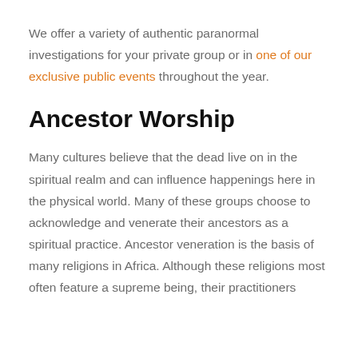We offer a variety of authentic paranormal investigations for your private group or in one of our exclusive public events throughout the year.
Ancestor Worship
Many cultures believe that the dead live on in the spiritual realm and can influence happenings here in the physical world. Many of these groups choose to acknowledge and venerate their ancestors as a spiritual practice. Ancestor veneration is the basis of many religions in Africa. Although these religions most often feature a supreme being, their practitioners